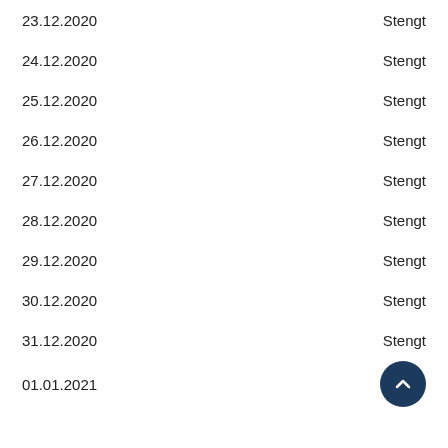23.12.2020  Stengt
24.12.2020  Stengt
25.12.2020  Stengt
26.12.2020  Stengt
27.12.2020  Stengt
28.12.2020  Stengt
29.12.2020  Stengt
30.12.2020  Stengt
31.12.2020  Stengt
01.01.2021